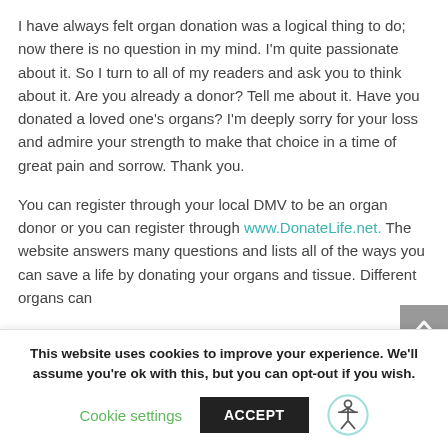I have always felt organ donation was a logical thing to do; now there is no question in my mind. I'm quite passionate about it. So I turn to all of my readers and ask you to think about it. Are you already a donor? Tell me about it. Have you donated a loved one's organs? I'm deeply sorry for your loss and admire your strength to make that choice in a time of great pain and sorrow. Thank you.
You can register through your local DMV to be an organ donor or you can register through www.DonateLife.net. The website answers many questions and lists all of the ways you can save a life by donating your organs and tissue. Different organs can
This website uses cookies to improve your experience. We'll assume you're ok with this, but you can opt-out if you wish.
Cookie settings   ACCEPT